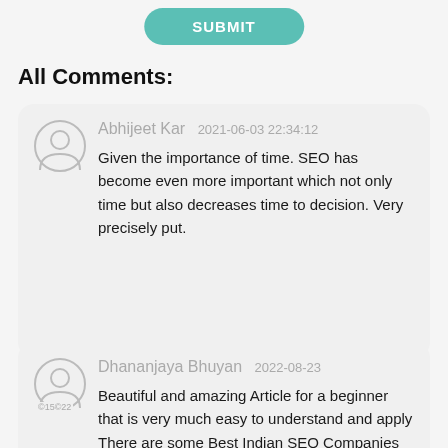[Figure (other): SUBMIT button (teal/green rounded rectangle)]
All Comments:
Abhijeet Kar  2021-06-03 22:34:12

Given the importance of time. SEO has become even more important which not only time but also decreases time to decision. Very precisely put.
Dhananjaya Bhuyan  2022-08-23

Beautiful and amazing Article for a beginner that is very much easy to understand and apply There are some Best Indian SEO Companies one should